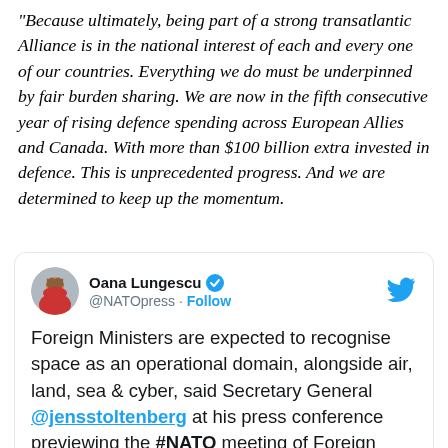"Because ultimately, being part of a strong transatlantic Alliance is in the national interest of each and every one of our countries.  Everything we do must be underpinned by fair burden sharing. We are now in the fifth consecutive year of rising defence spending across European Allies and Canada. With more than $100 billion extra invested in defence. This is unprecedented progress. And we are determined to keep up the momentum.
[Figure (screenshot): Tweet by @NATOpress (Oana Lungescu) with verified badge and Twitter bird logo. Tweet text: Foreign Ministers are expected to recognise space as an operational domain, alongside air, land, sea & cyber, said Secretary General @jensstoltenberg at his press conference previewing the #NATO meeting of Foreign Ministers.]